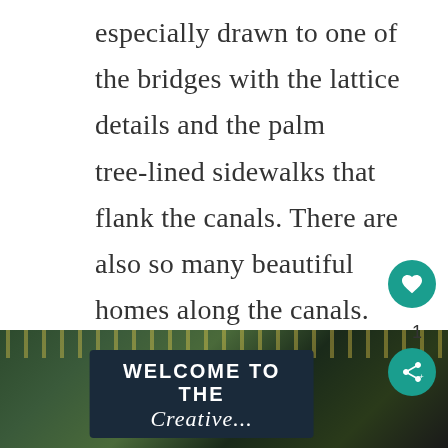especially drawn to one of the bridges with the lattice details and the palm tree-lined sidewalks that flank the canals. There are also so many beautiful homes along the canals. It's just a gorgeous place to stroll, people watch, capture photos, and enjoy the lovely California weather.
[Figure (photo): Bottom portion of a photo showing a dark chalkboard-style sign reading 'WELCOME TO THE Creative...' with string lights and greenery in the background]